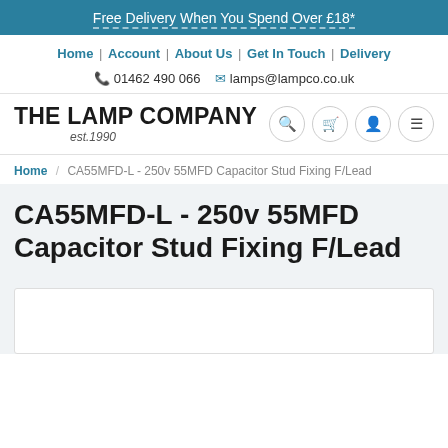Free Delivery When You Spend Over £18*
Home | Account | About Us | Get In Touch | Delivery
01462 490 066  lamps@lampco.co.uk
THE LAMP COMPANY est.1990
Home / CA55MFD-L - 250v 55MFD Capacitor Stud Fixing F/Lead
CA55MFD-L - 250v 55MFD Capacitor Stud Fixing F/Lead